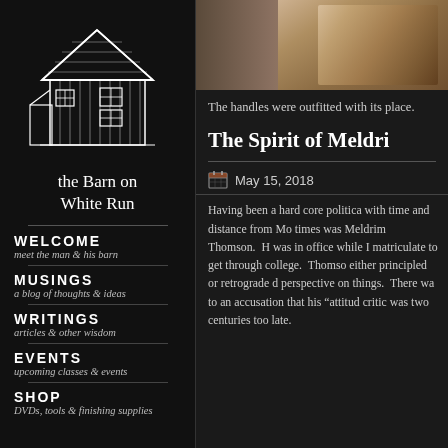[Figure (illustration): White line drawing of a barn on black background - the Barn on White Run logo]
the Barn on White Run
WELCOME
meet the man & his barn
MUSINGS
a blog of thoughts & ideas
WRITINGS
articles & other wisdom
EVENTS
upcoming classes & events
SHOP
DVDs, tools & finishing supplies
[Figure (photo): Partial photograph of a person, cropped at top of right content area]
The handles were outfitted with its place.
The Spirit of Meldri
May 15, 2018
Having been a hard core politica with time and distance from Mo times was Meldrim Thomson. H was in office while I matriculate to get through college. Thomso either principled or retrograde d perspective on things. There wa to an accusation that his "attitud critic was two centuries too late.